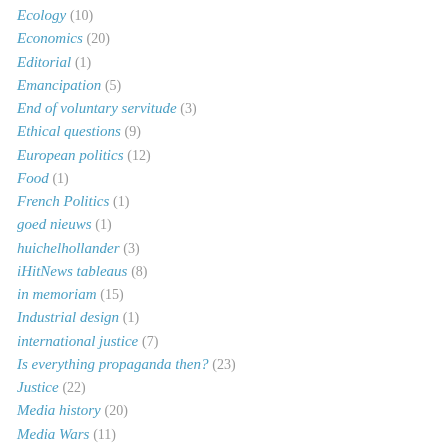Ecology (10)
Economics (20)
Editorial (1)
Emancipation (5)
End of voluntary servitude (3)
Ethical questions (9)
European politics (12)
Food (1)
French Politics (1)
goed nieuws (1)
huichelhollander (3)
iHitNews tableaus (8)
in memoriam (15)
Industrial design (1)
international justice (7)
Is everything propaganda then? (23)
Justice (22)
Media history (20)
Media Wars (11)
Memorials (10)